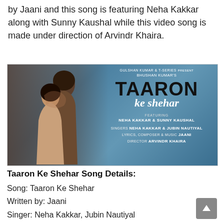by Jaani and this song is featuring Neha Kakkar along with Sunny Kaushal while this video song is made under direction of Arvindr Khaira.
[Figure (photo): Movie poster for 'Taaron Ke Shehar' featuring a couple embracing on the left side against a blue bokeh background. Text on the right reads: GULSHAN KUMAR & T-SERIES PRESENT BHUSHAN KUMAR'S, TAARON ke shehar, FEATURING NEHA KAKKAR & SUNNY KAUSHAL, SINGERS NEHA KAKKAR & JUBIN NAUTIYAL, LYRICS, COMPOSER & MUSIC JAANI, DIRECTOR ARVINDR KHAIRA]
Taaron Ke Shehar Song Details:
Song: Taaron Ke Shehar
Written by: Jaani
Singer: Neha Kakkar, Jubin Nautiyal
Lyrics: Jaani